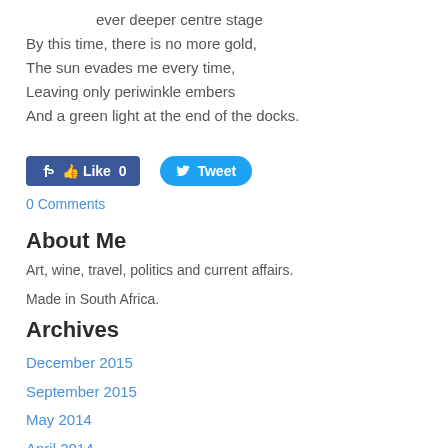ever deeper centre stage
By this time, there is no more gold,
The sun evades me every time,
Leaving only periwinkle embers
And a green light at the end of the docks.
[Figure (other): Facebook Like button showing count of 0 and a Twitter Tweet button]
0 Comments
About Me
Art, wine, travel, politics and current affairs.
Made in South Africa.
Archives
December 2015
September 2015
May 2014
April 2014